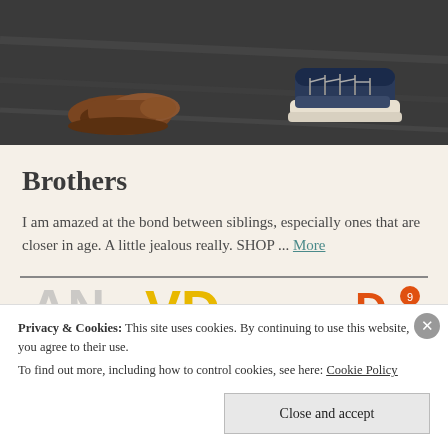[Figure (illustration): Illustrated image showing feet/shoes of two people walking on a dark ground, viewed from above. Left person wearing brown shoes, right person wearing dark navy/grey sneakers with white soles.]
Brothers
I am amazed at the bond between siblings, especially ones that are closer in age. A little jealous really. SHOP ... More
[Figure (illustration): Partial view of colorful illustrated text/logo below a horizontal divider, partially obscured by cookie banner.]
Privacy & Cookies: This site uses cookies. By continuing to use this website, you agree to their use.
To find out more, including how to control cookies, see here: Cookie Policy
Close and accept